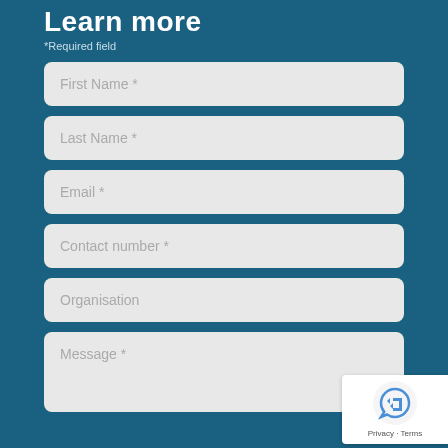Learn more
*Required field
First Name *
Last Name *
Email *
Contact number *
Organisation
Message *